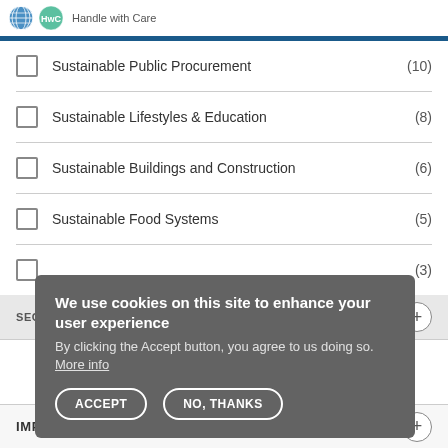Handle with Care
Sustainable Public Procurement (10)
Sustainable Lifestyles & Education (8)
Sustainable Buildings and Construction (6)
Sustainable Food Systems (5)
(3)
SECTOR
IMPACT
We use cookies on this site to enhance your user experience
By clicking the Accept button, you agree to us doing so. More info
ACCEPT   NO, THANKS